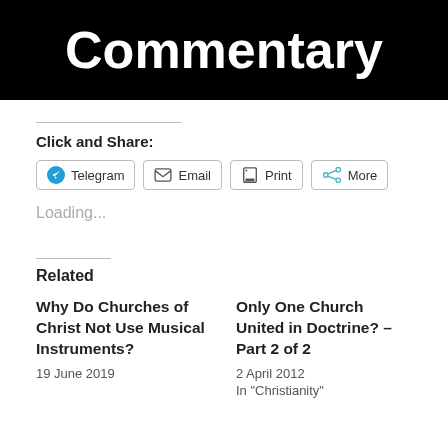Commentary
Click and Share:
Telegram  Email  Print  More
Loading...
Related
Why Do Churches of Christ Not Use Musical Instruments?
19 June 2019
Only One Church United in Doctrine? – Part 2 of 2
2 April 2012
In "Christianity"